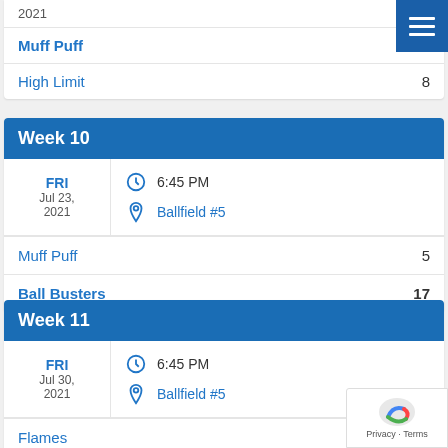2021
Muff Puff  9
High Limit  8
Week 10
FRI Jul 23, 2021  6:45 PM  Ballfield #5
Muff Puff  5
Ball Busters  17
Week 11
FRI Jul 30, 2021  6:45 PM  Ballfield #5
Flames  3